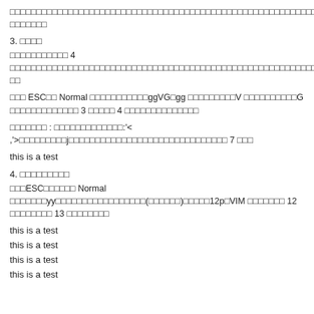□□□□□□□□□□□□□□□□□□□□□□□□□□□□□□□□□□□□□□□□□□□□□□□□□□□□□□□□□□□□□□□□□□□□□□□□□□□□□□□□□□□□□□□□□□□□□□□□□□□□□□□□□□□□□□□□□□□□□□□□□□□□□□□□□□□□□□□□□□□□□□□□□□□□□□□□□□□□□□□□□□□□□□□□□□□□□□□□□□□□□□□□□□□□□□□□□□□□
3. □□□□
□□□□□□□□□□□ 4 □□□□□□□□□□□□□□□□□□□□□□□□□□□□□□□□□□□□□□□□□□□□□□□□□□□□□□□□□□□□□□□□□□□□□□□□□□□□□□□□□□□□□□□□□□□□□□□□□□ □□
□□□ ESC□□ Normal □□□□□□□□□□□ggVG□gg □□□□□□□□□V □□□□□□□□□□G □□□□□□□□□□□□□ 3 □□□□□ 4 □□□□□□□□□□□□□□
□□□□□□□ : □□□□□□□□□□□□□:'< ,'>□□□□□□□□□j□□□□□□□□□□□□□□□□□□□□□□□□□□□□□□ 7 □□□
this is a test
4. □□□□□□□□□
□□□ESC□□□□□□ Normal □□□□□□□yy□□□□□□□□□□□□□□□□□(□□□□□□)□□□□□12p□VIM □□□□□□□ 12 □□□□□□□□ 13 □□□□□□□□
this is a test
this is a test
this is a test
this is a test